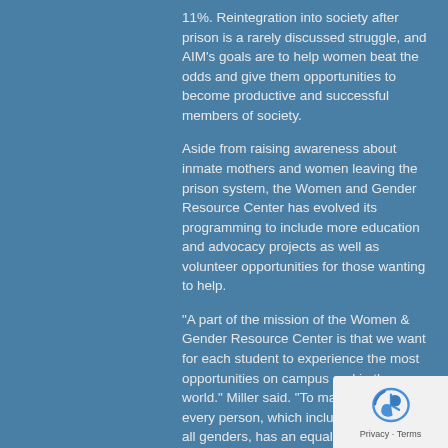11%. Reintegration into society after prison is a rarely discussed struggle, and AIM's goals are to help women beat the odds and give them opportunities to become productive and successful members of society.
Aside from raising awareness about inmate mothers and women leaving the prison system, the Women and Gender Resource Center has evolved its programming to include more education and advocacy projects as well as volunteer opportunities for those wanting to help.
“A part of the mission of the Women & Gender Resource Center is that we want for each student to experience the most opportunities on campus and in the world.” Miller said. “To make sure that every person, which includes people of all genders, has an equal opportunity to pursue their dreams, or their education, or whatever it is that they need.”
“Providing knowledge, information, education